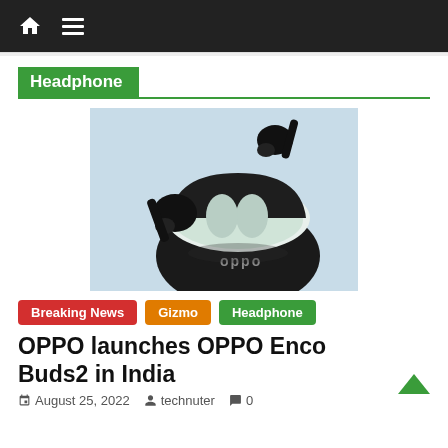Navigation bar with home and menu icons
Headphone
[Figure (photo): OPPO Enco Buds2 true wireless earbuds in black, shown outside their white and black charging case on a light blue background. The OPPO logo is visible on the case.]
Breaking News
Gizmo
Headphone
OPPO launches OPPO Enco Buds2 in India
August 25, 2022  technuter  0